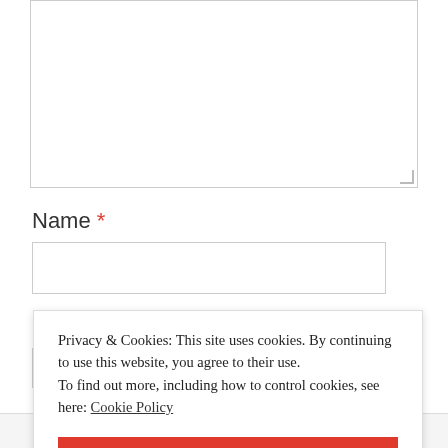[Figure (screenshot): Textarea form field with resize handle in bottom-right corner]
Name *
[Figure (screenshot): Name text input field]
Email *
[Figure (screenshot): Email text input field (partially visible behind cookie banner)]
Privacy & Cookies: This site uses cookies. By continuing to use this website, you agree to their use. To find out more, including how to control cookies, see here: Cookie Policy
CLOSE AND ACCEPT
Advertisements